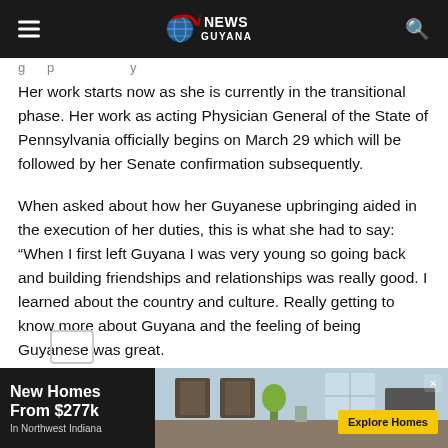iNEWS GUYANA
Her work starts now as she is currently in the transitional phase. Her work as acting Physician General of the State of Pennsylvania officially begins on March 29 which will be followed by her Senate confirmation subsequently.
When asked about how her Guyanese upbringing aided in the execution of her duties, this is what she had to say: “When I first left Guyana I was very young so going back and building friendships and relationships was really good. I learned about the country and culture. Really getting to know more about Guyana and the feeling of being Guyanese was great.
[Figure (infographic): Advertisement banner: New Homes From $277k In Northwest Indiana, with kitchen photo and Explore Homes button]